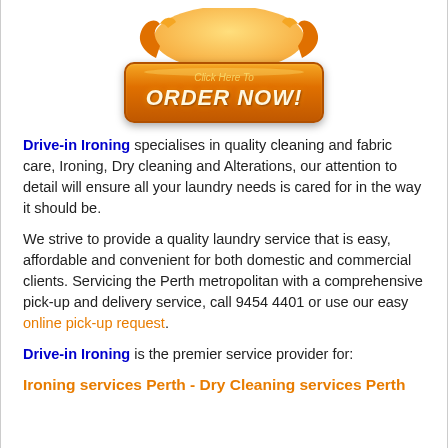[Figure (illustration): Orange 'Click Here To ORDER NOW!' button with decorative arrows/ribbons on top, centered at top of page]
Drive-in Ironing specialises in quality cleaning and fabric care, Ironing, Dry cleaning and Alterations, our attention to detail will ensure all your laundry needs is cared for in the way it should be.
We strive to provide a quality laundry service that is easy, affordable and convenient for both domestic and commercial clients. Servicing the Perth metropolitan with a comprehensive pick-up and delivery service, call 9454 4401 or use our easy online pick-up request.
Drive-in Ironing is the premier service provider for:
Ironing services Perth - Dry Cleaning services Perth